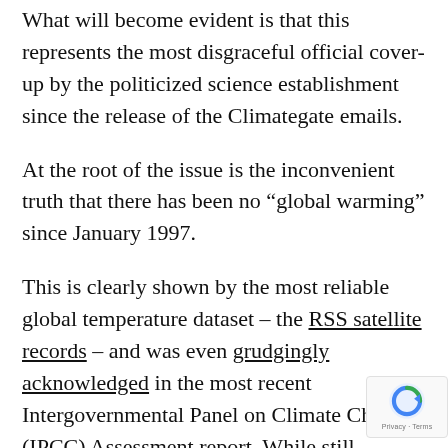What will become evident is that this represents the most disgraceful official cover-up by the politicized science establishment since the release of the Climategate emails.
At the root of the issue is the inconvenient truth that there has been no “global warming” since January 1997.
This is clearly shown by the most reliable global temperature dataset – the RSS satellite records – and was even grudgingly acknowledged in the most recent Intergovernmental Panel on Climate Change (IPCC) Assessment report. While still insisting that there has been a slight warming – an increase, since 1998, of around 0.05 degrees C per decade – the IPCC